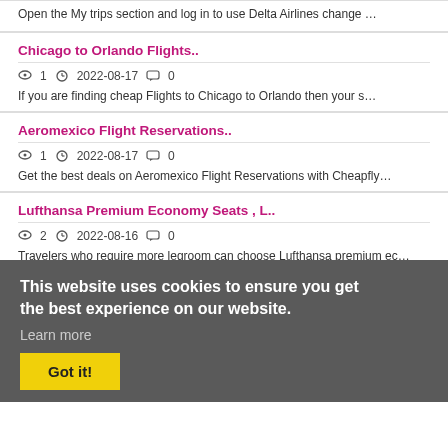Open the My trips section and log in to use Delta Airlines change …
Chicago to Orlando Flights..
1  2022-08-17  0
If you are finding cheap Flights to Chicago to Orlando then your s…
Aeromexico Flight Reservations..
1  2022-08-17  0
Get the best deals on Aeromexico Flight Reservations with Cheapfly…
Lufthansa Premium Economy Seats , L..
2  2022-08-16  0
Travelers who require more legroom can choose Lufthansa premium ec…
This website uses cookies to ensure you get the best experience on our website.
Learn more
Got it!